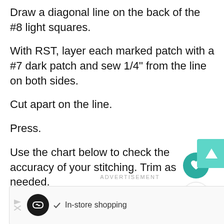Draw a diagonal line on the back of the #8 light squares.
With RST, layer each marked patch with a #7 dark patch and sew 1/4" from the line on both sides.
Cut apart on the line.
Press.
Use the chart below to check the accuracy of your stitching. Trim as needed.
[Figure (other): Advertisement banner with black circle logo, checkmark, In-store shopping text, blue diamond icon, and bar chart icon. Also shows teal heart button, teal triangle button, and share button on the right side.]